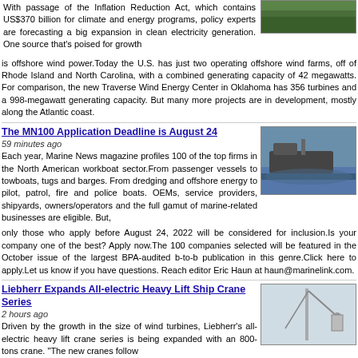With passage of the Inflation Reduction Act, which contains US$370 billion for climate and energy programs, policy experts are forecasting a big expansion in clean electricity generation. One source that's poised for growth is offshore wind power.Today the U.S. has just two operating offshore wind farms, off of Rhode Island and North Carolina, with a combined generating capacity of 42 megawatts. For comparison, the new Traverse Wind Energy Center in Oklahoma has 356 turbines and a 998-megawatt generating capacity. But many more projects are in development, mostly along the Atlantic coast.
[Figure (photo): Aerial photo of green fields/land]
The MN100 Application Deadline is August 24
59 minutes ago
[Figure (photo): Photo of a tugboat/workboat on water]
Each year, Marine News magazine profiles 100 of the top firms in the North American workboat sector.From passenger vessels to towboats, tugs and barges. From dredging and offshore energy to pilot, patrol, fire and police boats. OEMs, service providers, shipyards, owners/operators and the full gamut of marine-related businesses are eligible. But, only those who apply before August 24, 2022 will be considered for inclusion.Is your company one of the best? Apply now.The 100 companies selected will be featured in the October issue of the largest BPA-audited b-to-b publication in this genre.Click here to apply.Let us know if you have questions. Reach editor Eric Haun at haun@marinelink.com.
Liebherr Expands All-electric Heavy Lift Ship Crane Series
2 hours ago
[Figure (photo): Photo of a ship crane against sky]
Driven by the growth in the size of wind turbines, Liebherr's all-electric heavy lift crane series is being expanded with an 800-tons crane. "The new cranes follow on from a long tradition and decades of experience in building ship cranes. The first ship crane was delivered by Liebherr in 1958. The push into the 800 tonnes size segment does not represent new territory - Liebherr has already supplied onshore and offshore cranes in the 3000-5000 tonnes category," said Gregor Levold, Sales Director for Liebherr Offshore, Ship and Port Cranes.